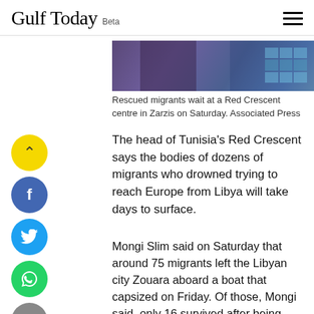Gulf Today Beta
[Figure (photo): Cropped photo showing rescued migrants at a Red Crescent centre. A person in a grey hoodie is visible against a tiled background with blue/purple tones.]
Rescued migrants wait at a Red Crescent centre in Zarzis on Saturday. Associated Press
The head of Tunisia’s Red Crescent says the bodies of dozens of migrants who drowned trying to reach Europe from Libya will take days to surface.
Mongi Slim said on Saturday that around 75 migrants left the Libyan city Zouara aboard a boat that capsized on Friday. Of those, Mongi said, only 16 survived after being rescued by a Tunisian fishing boat. He said the 14 Bangladeshis, a Moroccan and an Egyptian are